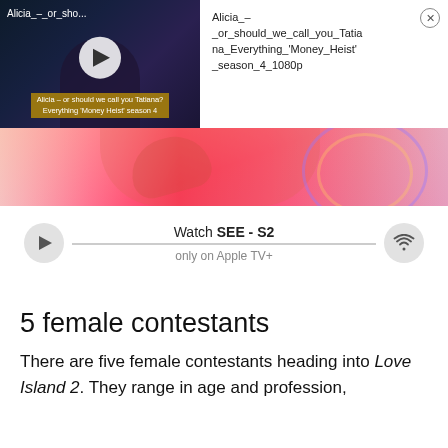[Figure (screenshot): Video thumbnail showing a dark-themed scene with a play button, title bar reading 'Alicia_-_or_sho...' and subtitle overlay text]
Alicia_-_or_should_we_call_you_Tatiana_Everything_'Money_Heist'_season_4_1080p
[Figure (photo): Pink/orange banner image showing a partial view of a person in red against a pink background]
[Figure (screenshot): Media player bar with play button, progress track, and wifi/airplay icon, showing 'Watch SEE - S2 only on Apple TV+']
5 female contestants
There are five female contestants heading into Love Island 2. They range in age and profession,